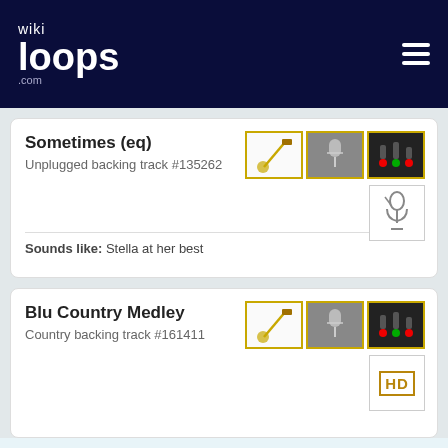wikiloops.com
Sometimes (eq)
Unplugged backing track #135262
Sounds like: Stella at her best
Blu Country Medley
Country backing track #161411
wikiloops uses Cookies and processes data in compliance with the GDPR, as stated in our data privacy policy ..